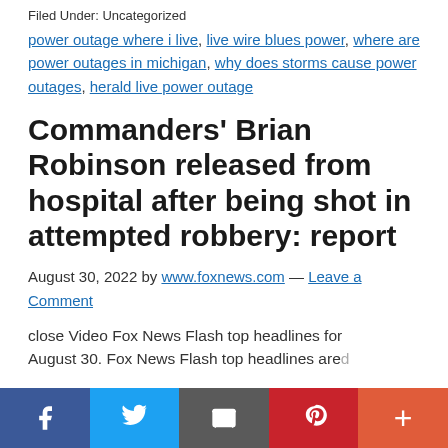Filed Under: Uncategorized
power outage where i live, live wire blues power, where are power outages in michigan, why does storms cause power outages, herald live power outage
Commanders' Brian Robinson released from hospital after being shot in attempted robbery: report
August 30, 2022 by www.foxnews.com — Leave a Comment
close Video Fox News Flash top headlines for August 30. Fox News Flash top headlines are...